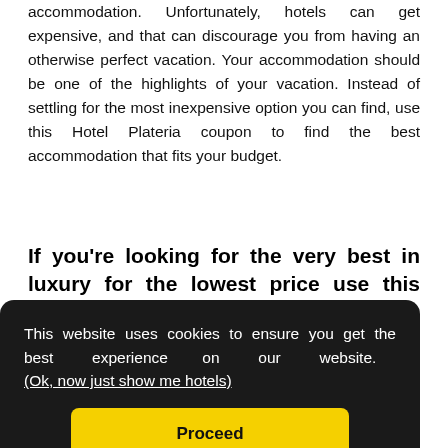accommodation. Unfortunately, hotels can get expensive, and that can discourage you from having an otherwise perfect vacation. Your accommodation should be one of the highlights of your vacation. Instead of settling for the most inexpensive option you can find, use this Hotel Plateria coupon to find the best accommodation that fits your budget.
If you're looking for the very best in luxury for the lowest price use this Hotel Plateria
[Figure (screenshot): Cookie consent overlay on dark background with text 'This website uses cookies to ensure you get the best experience on our website.' and a link '(Ok, now just show me hotels)' and a yellow 'Proceed' button. Behind the overlay, partially visible body text about hotel stays.]
the place you're visiting, the accommodations you want, and